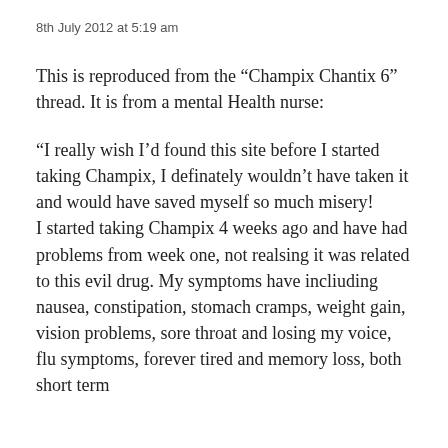8th July 2012 at 5:19 am
This is reproduced from the “Champix Chantix 6” thread. It is from a mental Health nurse:
“I really wish I’d found this site before I started taking Champix, I definately wouldn’t have taken it and would have saved myself so much misery!
I started taking Champix 4 weeks ago and have had problems from week one, not realsing it was related to this evil drug. My symptoms have incliuding nausea, constipation, stomach cramps, weight gain, vision problems, sore throat and losing my voice, flu symptoms, forever tired and memory loss, both short term